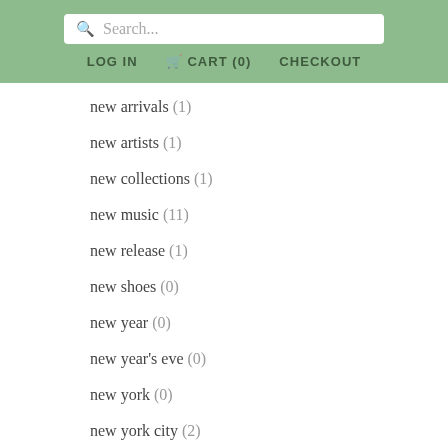Search... LOG IN CART (0) CHECKOUT
new arrivals (1)
new artists (1)
new collections (1)
new music (11)
new release (1)
new shoes (0)
new year (0)
new year's eve (0)
new york (0)
new york city (2)
new york times (0)